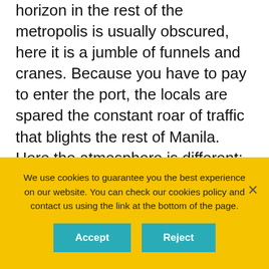horizon in the rest of the metropolis is usually obscured, here it is a jumble of funnels and cranes. Because you have to pay to enter the port, the locals are spared the constant roar of traffic that blights the rest of Manila. Here the atmosphere is different; the lack of urban clamour gives the area a very different feel.

To the sounds of an orchestra of competing sources of electronic music, the local children run about singing, laughing, dancing and shouting whilst around them adults engage in a systematic fashion in the
We use cookies to guarantee you the best experience on our website. You can check our cookies policy and contact us using the link at the bottom of the page.